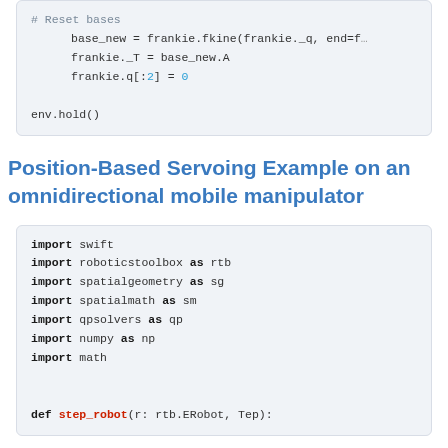[Figure (screenshot): Code block (top, partial) showing Python code: # Reset bases, base_new = frankie.fkine(frankie._q, end=f...), frankie._T = base_new.A, frankie.q[:2] = 0, env.hold()]
Position-Based Servoing Example on an omnidirectional mobile manipulator
[Figure (screenshot): Code block showing Python import statements: import swift, import roboticstoolbox as rtb, import spatialgeometry as sg, import spatialmath as sm, import qpsolvers as qp, import numpy as np, import math, def step_robot(r: rtb.ERobot, Tep):]